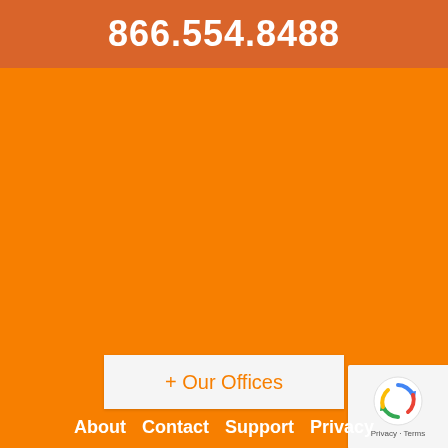866.554.8488
+ Our Offices
[Figure (logo): reCAPTCHA badge with rotating arrows logo, 'Privacy' and 'Terms' links]
About  Contact  Support  Privacy